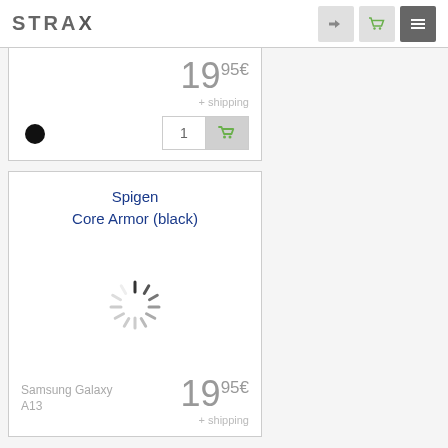STRAX — navigation bar with login, cart, and menu icons
19 95€ + shipping
[Figure (other): Black circular color swatch dot]
1 (quantity) with add to cart button
Spigen Core Armor (black)
[Figure (other): Loading spinner animation indicator]
Samsung Galaxy A13
19 95€ + shipping